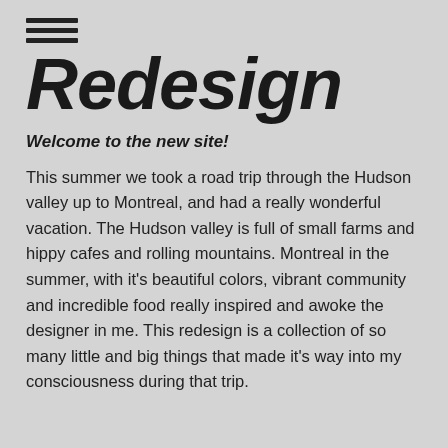[Figure (other): Hamburger menu icon with three horizontal lines]
Redesign
Welcome to the new site!
This summer we took a road trip through the Hudson valley up to Montreal, and had a really wonderful vacation. The Hudson valley is full of small farms and hippy cafes and rolling mountains. Montreal in the summer, with it's beautiful colors, vibrant community and incredible food really inspired and awoke the designer in me. This redesign is a collection of so many little and big things that made it's way into my consciousness during that trip.